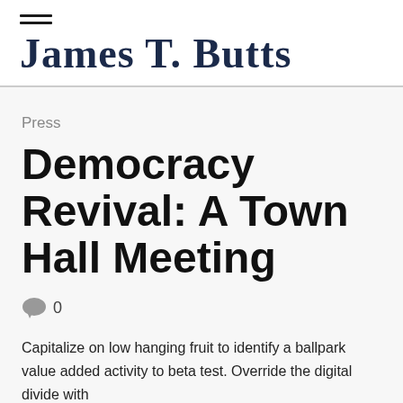JAMES T. BUTTS
Press
Democracy Revival: A Town Hall Meeting
0
Capitalize on low hanging fruit to identify a ballpark value added activity to beta test. Override the digital divide with